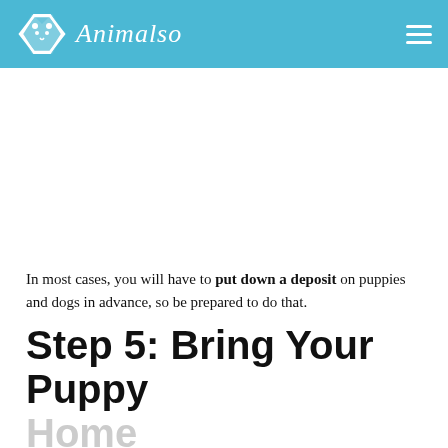Animalso
In most cases, you will have to put down a deposit on puppies and dogs in advance, so be prepared to do that.
Step 5: Bring Your Puppy Home
I kind of skipped a step here, because you should...